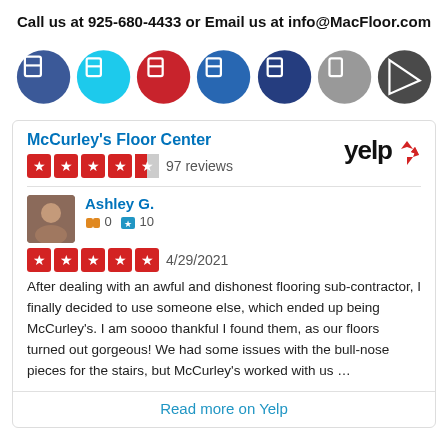Call us at 925-680-4433 or Email us at info@MacFloor.com
[Figure (infographic): Row of 7 circular social media / app icons: dark blue (Facebook), cyan (Twitter), red (Pinterest), dark blue (LinkedIn), dark blue, gray, dark gray]
McCurley's Floor Center — 97 reviews (4.5 stars on Yelp)
Ashley G. — 0 compliments, 10 friends — 4/29/2021 — 5 stars — After dealing with an awful and dishonest flooring sub-contractor, I finally decided to use someone else, which ended up being McCurley's. I am soooo thankful I found them, as our floors turned out gorgeous! We had some issues with the bull-nose pieces for the stairs, but McCurley's worked with us …
Read more on Yelp